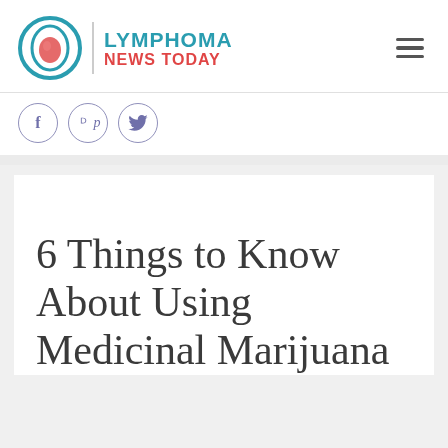[Figure (logo): Lymphoma News Today logo with teal and red text and circular icon]
[Figure (infographic): Social media share icons: Facebook (f), Pinterest (p), Twitter (bird)]
6 Things to Know About Using Medicinal Marijuana